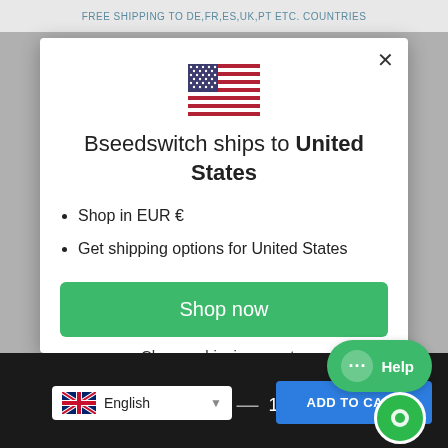FREE SHIPPING TO DE,FR,ES,UK,PT ETC. COUNTRIES
[Figure (illustration): US flag emoji]
Bseedswitch ships to United States
Shop in EUR €
Get shipping options for United States
Shop now
Change shipping country
Help
English
ADD TO CART